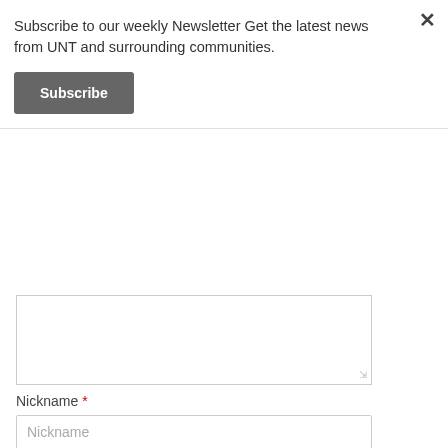Subscribe to our weekly Newsletter Get the latest news from UNT and surrounding communities.
Subscribe
Nickname *
E-mail *
Website
Save my name, email, and website in this browser for the next time I